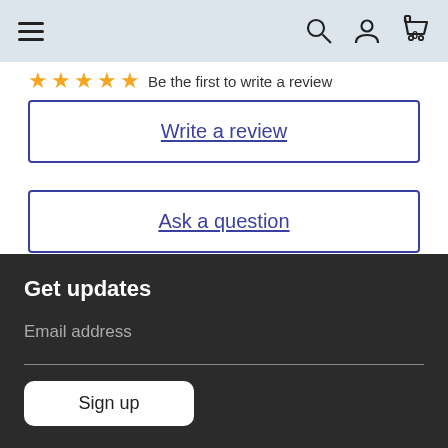Navigation bar with hamburger menu, search, account, and cart (0) icons
Be the first to write a review
Write a review
Ask a question
Get updates
Email address
Sign up